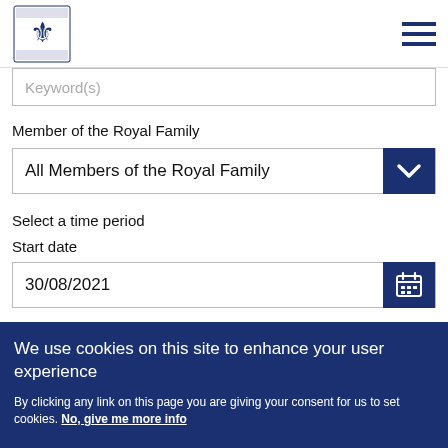Royal Family website header with logo and navigation menu
Keyword(s)
Member of the Royal Family
All Members of the Royal Family
Select a time period
Start date
30/08/2021
We use cookies on this site to enhance your user experience
By clicking any link on this page you are giving your consent for us to set cookies. No, give me more info